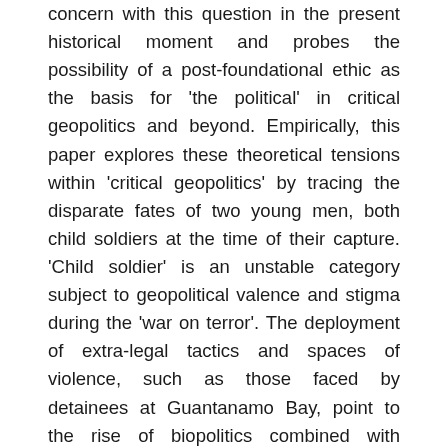concern with this question in the present historical moment and probes the possibility of a post-foundational ethic as the basis for 'the political' in critical geopolitics and beyond. Empirically, this paper explores these theoretical tensions within 'critical geopolitics' by tracing the disparate fates of two young men, both child soldiers at the time of their capture. 'Child soldier' is an unstable category subject to geopolitical valence and stigma during the 'war on terror'. The deployment of extra-legal tactics and spaces of violence, such as those faced by detainees at Guantanamo Bay, point to the rise of biopolitics combined with geopolitics, illustrating the intersection of sovereignty and governmentality as important political fodder for critical geopolitics two decades after its inception. The